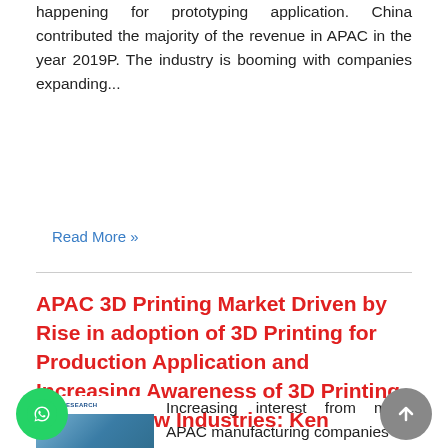happening for prototyping application. China contributed the majority of the revenue in APAC in the year 2019P. The industry is booming with companies expanding...
Read More »
APAC 3D Printing Market Driven by Rise in adoption of 3D Printing for Production Application and Increasing Awareness of 3D Printing usage in New Industries: Ken Research
[Figure (photo): Thumbnail image with Ken Research logo at top and a blue graphic image below]
Increasing interest from many APAC manufacturing companies